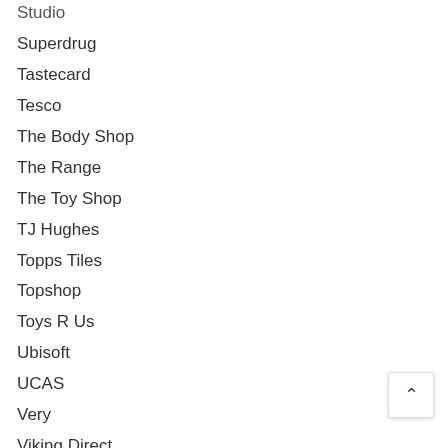Studio
Superdrug
Tastecard
Tesco
The Body Shop
The Range
The Toy Shop
TJ Hughes
Topps Tiles
Topshop
Toys R Us
Ubisoft
UCAS
Very
Viking Direct
Waitrose
Waterstones
Wayfair